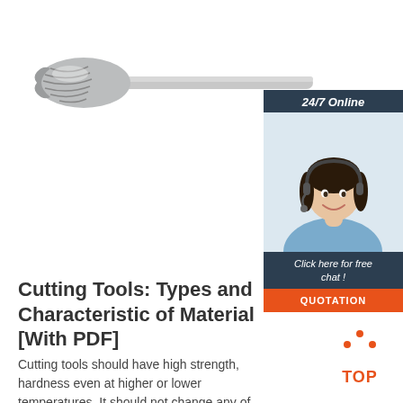[Figure (photo): A carbide rotary burr cutting tool with a cylindrical serrated head and a long metal shank, shown against a white background]
[Figure (infographic): A 24/7 online chat widget showing a woman with a headset smiling, with a dark blue header reading '24/7 Online', a dark blue footer reading 'Click here for free chat !', and an orange button reading 'QUOTATION']
Cutting Tools: Types and Characteristic of Material [With PDF]
Cutting tools should have high strength, hardness even at higher or lower temperatures. It should not change any of
[Figure (logo): A 'TOP' logo with orange dots forming an upward arrow above the word TOP in orange bold text]